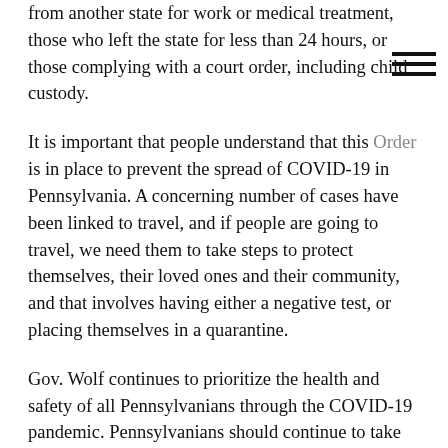from another state for work or medical treatment, those who left the state for less than 24 hours, or those complying with a court order, including child custody.
It is important that people understand that this Order is in place to prevent the spread of COVID-19 in Pennsylvania. A concerning number of cases have been linked to travel, and if people are going to travel, we need them to take steps to protect themselves, their loved ones and their community, and that involves having either a negative test, or placing themselves in a quarantine.
Gov. Wolf continues to prioritize the health and safety of all Pennsylvanians through the COVID-19 pandemic. Pennsylvanians should continue to take actions to prevent the spread of COVID-19, regardless of in what county they live. This includes wearing a mask or face covering any time they are in public. COVID-19 has been shown to spread easily in the air and contagious carriers can be asymptomatic. Pennsylvanians are encouraged to wash